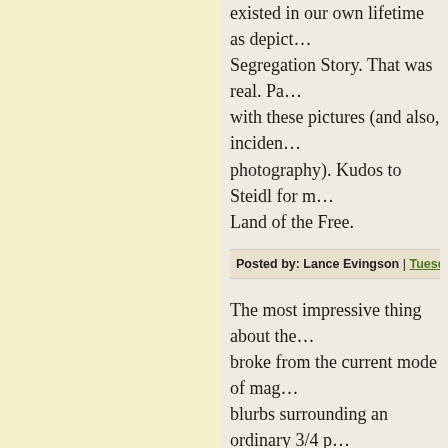existed in our own lifetime as depicted in… Segregation Story. That was real. Pa… with these pictures (and also, incidentally, photography). Kudos to Steidl for m… Land of the Free.
Posted by: Lance Evingson | Tuesday, 16 June 2015 at…
The most impressive thing about the… broke from the current mode of mag… blurbs surrounding an ordinary 3/4 p… subscribing to print magazines for se… moment to browse the covers of a di… disheartening and ordinary. All the p… great, and most of them are confused… headlines and blurbs. And the award… are the worst offenders!
If you look at the A Photo Editor we… of commercial photography presented…